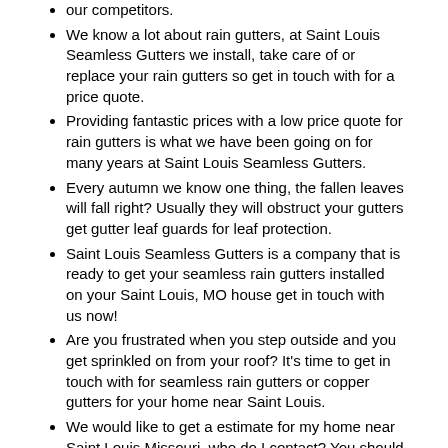our competitors.
We know a lot about rain gutters, at Saint Louis Seamless Gutters we install, take care of or replace your rain gutters so get in touch with for a price quote.
Providing fantastic prices with a low price quote for rain gutters is what we have been going on for many years at Saint Louis Seamless Gutters.
Every autumn we know one thing, the fallen leaves will fall right? Usually they will obstruct your gutters get gutter leaf guards for leaf protection.
Saint Louis Seamless Gutters is a company that is ready to get your seamless rain gutters installed on your Saint Louis, MO house get in touch with us now!
Are you frustrated when you step outside and you get sprinkled on from your roof? It's time to get in touch with for seamless rain gutters or copper gutters for your home near Saint Louis.
We would like to get a estimate for my home near Saint Louis Missouri, who do I contact? You should hire us at Saint Louis Seamless Gutters.
Do you need new gutters in the following zip codes: 63101, 63102, 63103, 63104, 63105, 63106, 63107, 63108, 63109,